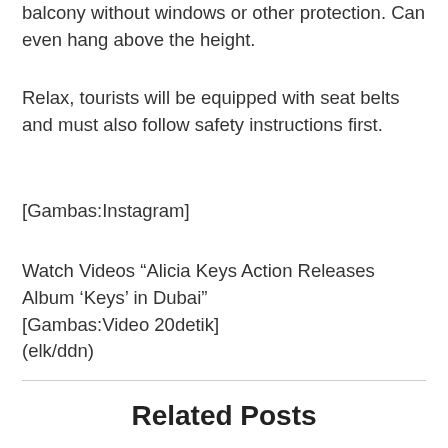balcony without windows or other protection. Can even hang above the height.
Relax, tourists will be equipped with seat belts and must also follow safety instructions first.
[Gambas:Instagram]
Watch Videos “Alicia Keys Action Releases Album ‘Keys’ in Dubai”
[Gambas:Video 20detik]
(elk/ddn)
Related Posts